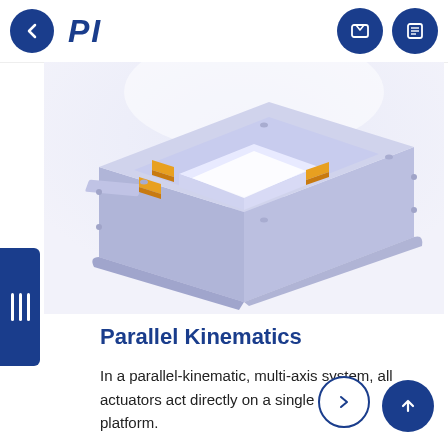PI — navigation header with back button, PI logo, contact and menu icons
[Figure (illustration): 3D rendering of a parallel kinematics piezo stage device — a flat rectangular platform with lavender/light purple housing showing orange/gold piezoelectric actuators arranged around a central square opening, viewed from an isometric perspective. The device has a layered structure with guide rails and mounting holes visible.]
Parallel Kinematics
In a parallel-kinematic, multi-axis system, all actuators act directly on a single moving platform.